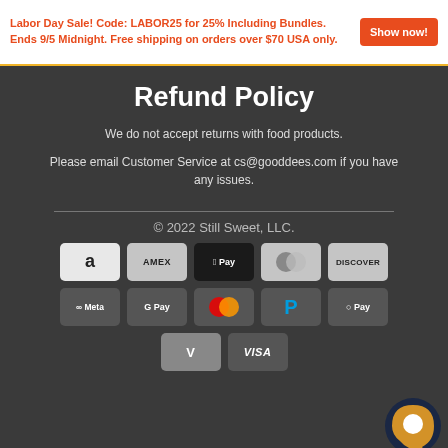Labor Day Sale! Code: LABOR25 for 25% Including Bundles. Ends 9/5 Midnight. Free shipping on orders over $70 USA only. Show now!
Refund Policy
We do not accept returns with food products.
Please email Customer Service at cs@gooddees.com if you have any issues.
© 2022 Still Sweet, LLC.
[Figure (other): Payment method icons: Amazon, Amex, Apple Pay, Diners Club, Discover, Meta Pay, Google Pay, Mastercard, PayPal, Shop Pay, Venmo, Visa]